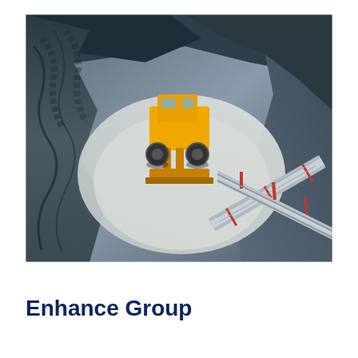[Figure (photo): Aerial view of a mining site showing a large yellow front-loader/bulldozer working on grey rock/mineral material, with a red and grey conveyor belt structure visible in the lower right portion of the image.]
Enhance Group